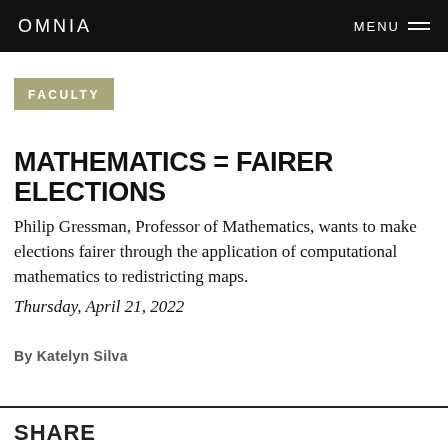OMNIA   MENU
FACULTY
MATHEMATICS = FAIRER ELECTIONS
Philip Gressman, Professor of Mathematics, wants to make elections fairer through the application of computational mathematics to redistricting maps.
Thursday, April 21, 2022
By Katelyn Silva
SHARE